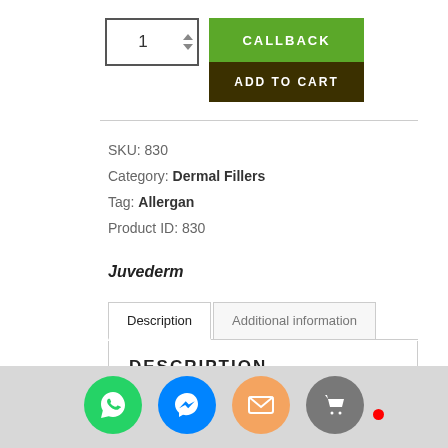[Figure (screenshot): Quantity input box with up/down arrows showing value 1, green CALLBACK button, dark brown ADD TO CART button]
SKU: 830
Category: Dermal Fillers
Tag: Allergan
Product ID: 830
Juvederm
Description | Additional information (tabs)
DESCRIPTION
Juvederm Ultra Smile is a product of the global pharmaceutical company Allergan that promises instant, youthful looking fullness. This injectable solution contains hyaluronic acid, a naturally occurring substance in the human body that is
[Figure (screenshot): Social media share buttons overlay: WhatsApp (green), Messenger (blue), Email (orange), Cart (gray) with red notification dot]